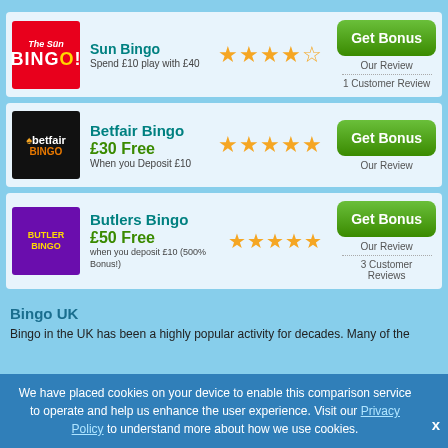Sun Bingo - Spend £10 play with £40 - 4 stars - Get Bonus - Our Review - 1 Customer Review
Betfair Bingo - £30 Free - When you Deposit £10 - 5 stars - Get Bonus - Our Review
Butlers Bingo - £50 Free - when you deposit £10 (500% Bonus!) - 5 stars - Get Bonus - Our Review - 3 Customer Reviews
Bingo UK
Bingo in the UK has been a highly popular activity for decades. Many of the
We have placed cookies on your device to enable this comparison service to operate and help us enhance the user experience. Visit our Privacy Policy to understand more about how we use cookies.